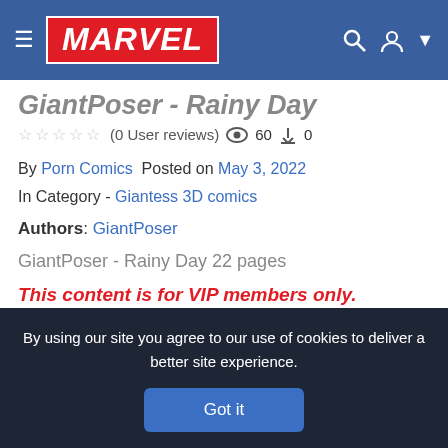MARVEL (navigation bar with hamburger menu, search and user icons)
GiantPoser - Rainy Day
☆☆☆☆☆ (0 User reviews) 👁 60 ⬇ 0
By Porn Comics  Posted on May 3, 2022
In Category - Giantess 3D comics
Authors: GiantPoser
GiantPoser - Rainy Day 22 pages
This content is for VIP members only.
Buy Now and Sign In TezFiles
By using our site you agree to our use of cookies to deliver a better site experience.
Got it